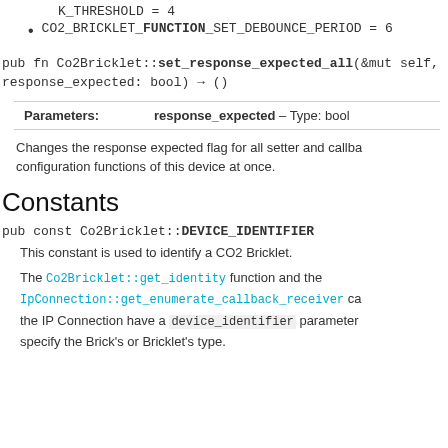K_THRESHOLD = 4
CO2_BRICKLET_FUNCTION_SET_DEBOUNCE_PERIOD = 6
pub fn Co2Bricklet::set_response_expected_all(&mut self, response_expected: bool) → ()
| Parameters: | response_expected – Type: bool |
| --- | --- |
Changes the response expected flag for all setter and callback configuration functions of this device at once.
Constants
pub const Co2Bricklet::DEVICE_IDENTIFIER
This constant is used to identify a CO2 Bricklet.
The Co2Bricklet::get_identity function and the IpConnection::get_enumerate_callback_receiver callback of the IP Connection have a device_identifier parameter to specify the Brick's or Bricklet's type.